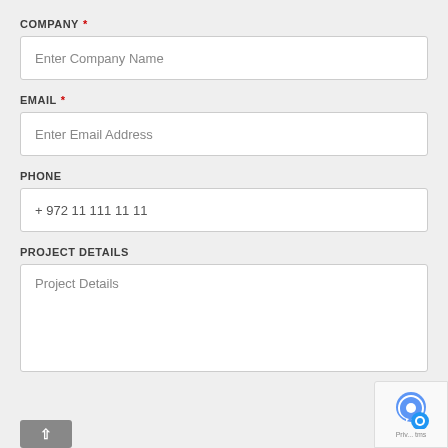COMPANY *
Enter Company Name
EMAIL *
Enter Email Address
PHONE
+ 972 11 111 11 11
PROJECT DETAILS
Project Details